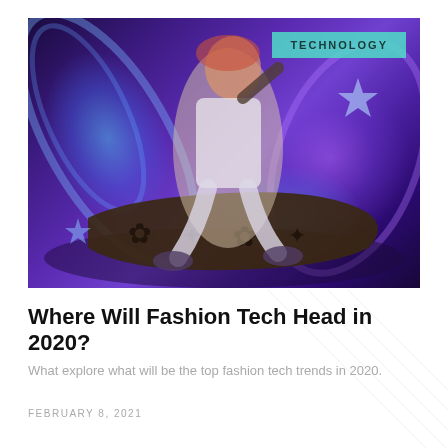[Figure (illustration): A stylized digital illustration of a fashionable woman with orange-pink hair, wearing white outfit with black jacket, seated on a dark Louis Vuitton-patterned vehicle/board, set against a vivid purple and blue glowing background with cosmic energy effects. A teal 'TECHNOLOGY' badge overlays the top right of the image.]
Where Will Fashion Tech Head in 2020?
What explore what will be the top fashion tech trends in 2020.
FEBRUARY 8, 2021